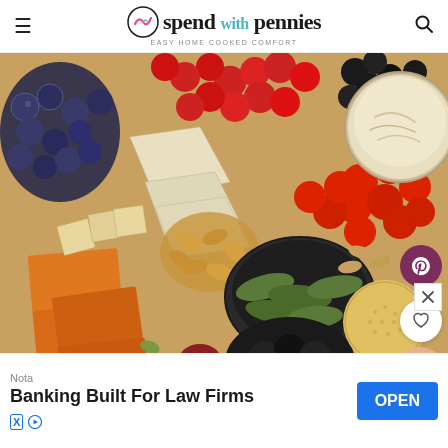spend with pennies — EASY HOME COOKED COMFORT
[Figure (photo): Overhead close-up of a charcuterie/snack board with blueberries, raspberries, blackberries, cherry tomatoes, white and orange cheese slices, mixed nuts, pickles in a dark bowl, black olives, crackers, salami, and a bowl of cream cheese dip.]
Nota
Banking Built For Law Firms
OPEN